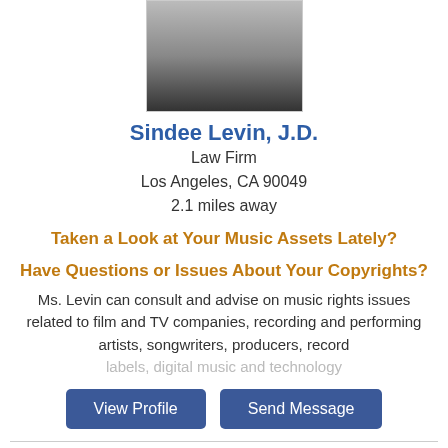[Figure (photo): Headshot photo of Sindee Levin, a woman with short hair wearing a dark top, cropped at shoulders]
Sindee Levin, J.D.
Law Firm
Los Angeles, CA 90049
2.1 miles away
Taken a Look at Your Music Assets Lately?
Have Questions or Issues About Your Copyrights?
Ms. Levin can consult and advise on music rights issues related to film and TV companies, recording and performing artists, songwriters, producers, record labels, digital music and technology
[Figure (other): Empty card/placeholder box at bottom of page]